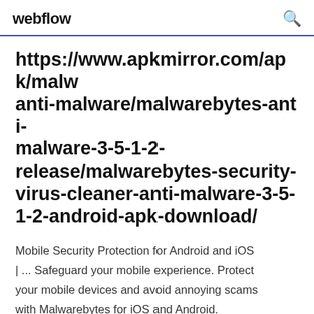webflow
https://www.apkmirror.com/apk/malw anti-malware/malwarebytes-anti-malware-3-5-1-2-release/malwarebytes-security-virus-cleaner-anti-malware-3-5-1-2-android-apk-download/
Mobile Security Protection for Android and iOS | ... Safeguard your mobile experience. Protect your mobile devices and avoid annoying scams with Malwarebytes for iOS and Android. Malwarebytes Sécurité: Antivirus & Anti-Malware Malwarebytes protège contre les